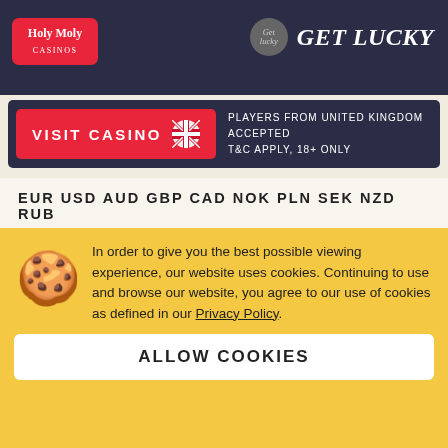[Figure (logo): Holy Moly Casinos logo (red background, white text) on dark navy header bar with Get Lucky branding on the right]
[Figure (infographic): Visit Casino banner with UK flag and text: PLAYERS FROM UNITED KINGDOM ACCEPTED T&C APPLY, 18+ ONLY]
EUR USD AUD GBP CAD NOK PLN SEK NZD RUB
Max. Withdrawal
€10000 Monthly
Max. Withdrawal Per Day
€300
Min. Withdrawal
In order to give you the best possible viewing experience, our website uses cookies. Continuing to use and browse our website, you agree to our use of cookies as defined in our Privacy Policy.
ALLOW COOKIES